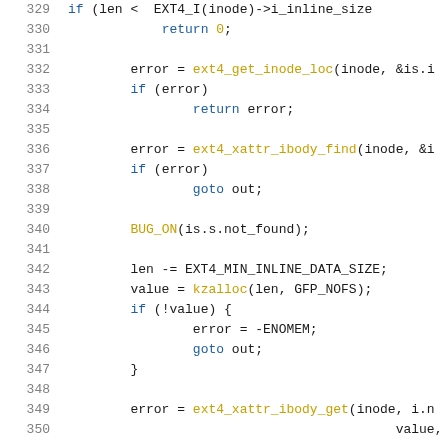Source code listing, lines 329-350, C kernel code (ext4 inline data handling)